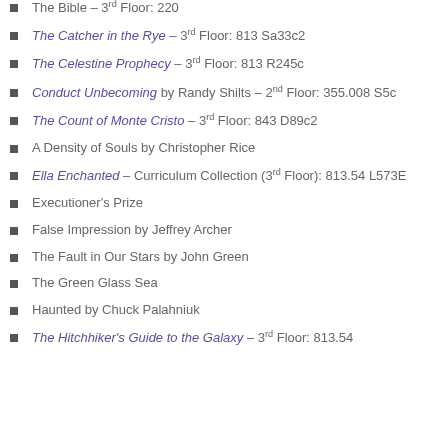The Bible – 3rd Floor: 220
The Catcher in the Rye – 3rd Floor: 813 Sa33c2
The Celestine Prophecy – 3rd Floor: 813 R245c
Conduct Unbecoming by Randy Shilts – 2nd Floor: 355.008 S5c
The Count of Monte Cristo – 3rd Floor: 843 D89c2
A Density of Souls by Christopher Rice
Ella Enchanted – Curriculum Collection (3rd Floor): 813.54 L573E
Executioner's Prize
False Impression by Jeffrey Archer
The Fault in Our Stars by John Green
The Green Glass Sea
Haunted by Chuck Palahniuk
The Hitchhiker's Guide to the Galaxy – 3rd Floor: 813.54